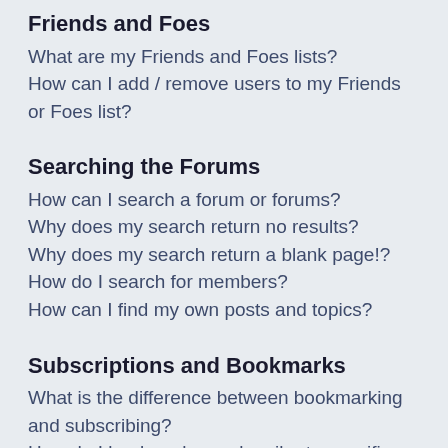Friends and Foes
What are my Friends and Foes lists?
How can I add / remove users to my Friends or Foes list?
Searching the Forums
How can I search a forum or forums?
Why does my search return no results?
Why does my search return a blank page!?
How do I search for members?
How can I find my own posts and topics?
Subscriptions and Bookmarks
What is the difference between bookmarking and subscribing?
How do I bookmark or subscribe to specific topics?
How do I subscribe to specific forums?
How do I remove my subscriptions?